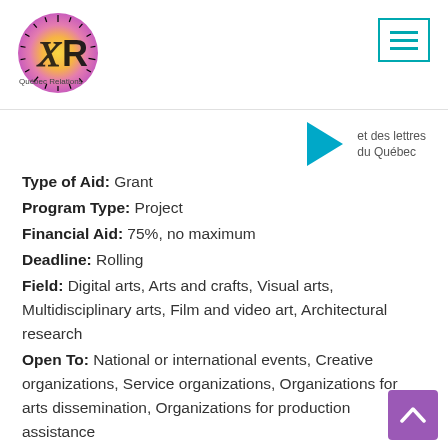[Figure (logo): Quebec Relations logo with colorful radial sunburst and XR letters]
[Figure (other): Hamburger menu icon with three horizontal teal lines in teal border box]
[Figure (logo): Blue rightward-pointing triangle with partial text 'et des lettres du Québec']
Type of Aid: Grant
Program Type: Project
Financial Aid: 75%, no maximum
Deadline: Rolling
Field: Digital arts, Arts and crafts, Visual arts, Multidisciplinary arts, Film and video art, Architectural research
Open To: National or international events, Creative organizations, Service organizations, Organizations for arts dissemination, Organizations for production assistance
Region: Abitibi-Témiscamingue , Bas-Saint-Laurent , Capitale-Nationale , Centre-du-Québec , Chaudière-Appalaches , Côte-Nord , Estrie , Gaspésie–Îles-de-la-Madeleine , Lanaudière , Laurentides , Laval , Mauricie